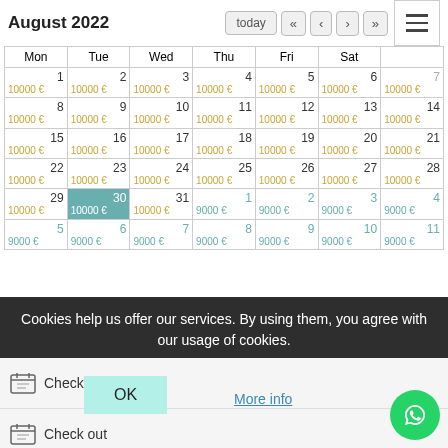August 2022
| Mon | Tue | Wed | Thu | Fri | Sat | Sun |
| --- | --- | --- | --- | --- | --- | --- |
| 1
10000 € | 2
10000 € | 3
10000 € | 4
10000 € | 5
10000 € | 6
10000 € | 7
10000 € |
| 8
10000 € | 9
10000 € | 10
10000 € | 11
10000 € | 12
10000 € | 13
10000 € | 14
10000 € |
| 15
10000 € | 16
10000 € | 17
10000 € | 18
10000 € | 19
10000 € | 20
10000 € | 21
10000 € |
| 22
10000 € | 23
10000 € | 24
10000 € | 25
10000 € | 26
10000 € | 27
10000 € | 28
10000 € |
| 29
10000 € | 30
10000 € | 31
10000 € | 1
9000 € | 2
9000 € | 3
9000 € | 4
9000 € |
| 5
9000 € | 6
9000 € | 7
9000 € | 8
9000 € | 9
9000 € | 10
9000 € | 11
9000 € |
Cookies help us offer our services. By using them, you agree with our usage of cookies.
Check in
Check out